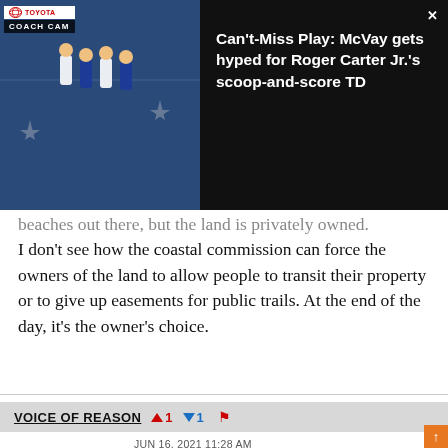[Figure (screenshot): Video thumbnail showing NFL football game footage with TOYOTA Coach Cam label overlay, and a dark panel with text: Can't-Miss Play: McVay gets hyped for Roger Carter Jr.'s scoop-and-score TD]
beaches out there, but the land is privately owned. I don't see how the coastal commission can force the owners of the land to allow people to transit their property or to give up easements for public trails. At the end of the day, it's the owner's choice.
VOICE OF REASON ▲1 ▼1 🚩
JUN 16, 2021 11:28 AM
For facts and details about the prior YMCA agreement / offer to dedicate see pages 2 and 3. The state would have to build significant infrastructure and fund a shuttle service to a specific (dangerous)